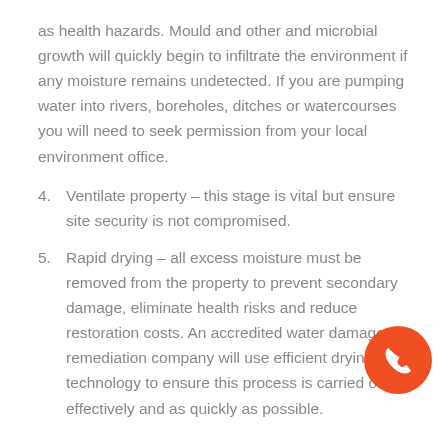as health hazards. Mould and other and microbial growth will quickly begin to infiltrate the environment if any moisture remains undetected. If you are pumping water into rivers, boreholes, ditches or watercourses you will need to seek permission from your local environment office.
4. Ventilate property – this stage is vital but ensure site security is not compromised.
5. Rapid drying – all excess moisture must be removed from the property to prevent secondary damage, eliminate health risks and reduce restoration costs. An accredited water damage remediation company will use efficient drying technology to ensure this process is carried out effectively and as quickly as possible.